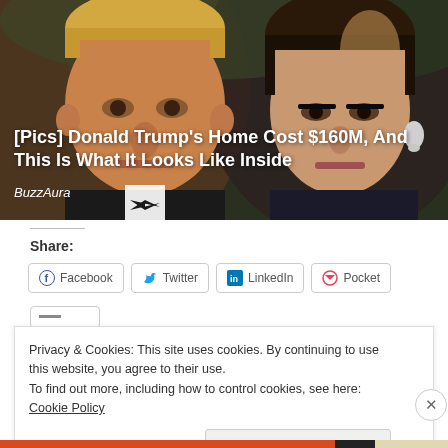[Figure (photo): Photo of Donald Trump and a woman (Melania Trump) dressed formally, dark background, used as article hero image]
[Pics] Donald Trump's Home Cost $160M, And This Is What It Looks Like Inside
BuzzAura
Share:
Facebook  Twitter  LinkedIn  Pocket
Privacy & Cookies: This site uses cookies. By continuing to use this website, you agree to their use.
To find out more, including how to control cookies, see here: Cookie Policy
Close and accept